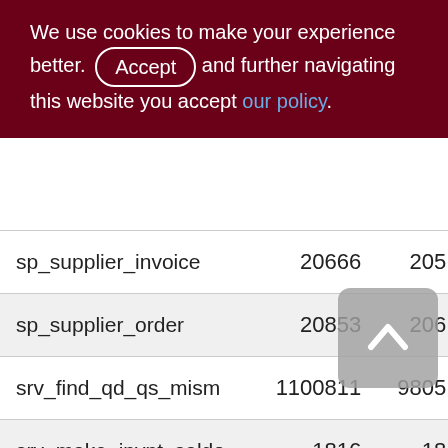We use cookies to make your experience better. By accepting and further navigating this website you accept our policy.
| Name | Col2 | Col3 |
| --- | --- | --- |
| sp_supplier_invoice | 20666 | 205 |
| sp_supplier_order | 20853 | 206 |
| srv_find_qd_qs_mism | 1100811 | 9805 |
| srv_make_invnt_saldo | 1816 | 18 |
| srv_make_money_saldo | 3175 | 31 |